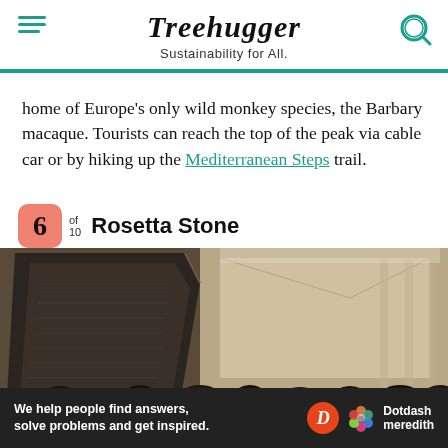Treehugger
Sustainability for All.
home of Europe's only wild monkey species, the Barbary macaque. Tourists can reach the top of the peak via cable car or by hiking up the Mediterranean Steps trail.
6 of 10 Rosetta Stone
[Figure (photo): Photo of the Rosetta Stone on display in a museum hall, with crowds of visitors around it]
We help people find answers, solve problems and get inspired. Dotdash meredith